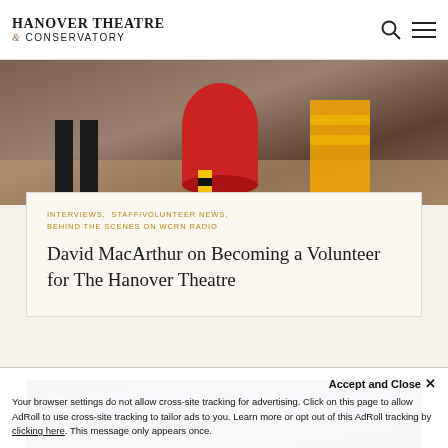Hanover Theatre & Conservatory
[Figure (photo): Photo showing costume characters and a person's legs at an event, with colorful costumes including yellow and red bee/character costumes]
INTERVIEWS, STAFF/VOLUNTEER NEWS, BEHIND THE SCENES ON WCRN RADIO
David MacArthur on Becoming a Volunteer for The Hanover Theatre
[Figure (photo): Dark blue background image with blurred text/graphics]
Accept and Close ×
Your browser settings do not allow cross-site tracking for advertising. Click on this page to allow AdRoll to use cross-site tracking to tailor ads to you. Learn more or opt out of this AdRoll tracking by clicking here. This message only appears once.